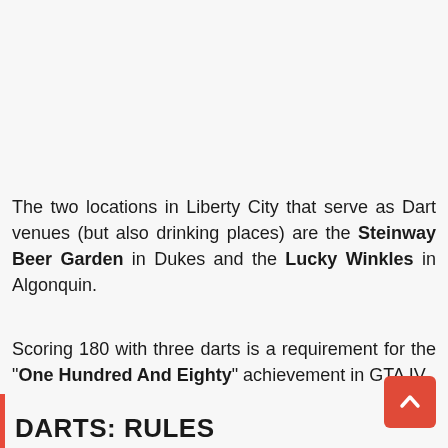The two locations in Liberty City that serve as Dart venues (but also drinking places) are the Steinway Beer Garden in Dukes and the Lucky Winkles in Algonquin.
Scoring 180 with three darts is a requirement for the "One Hundred And Eighty" achievement in GTA IV
DARTS: RULES